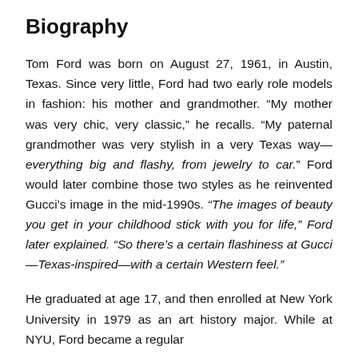Biography
Tom Ford was born on August 27, 1961, in Austin, Texas. Since very little, Ford had two early role models in fashion: his mother and grandmother. “My mother was very chic, very classic,” he recalls. “My paternal grandmother was very stylish in a very Texas way—everything big and flashy, from jewelry to car.” Ford would later combine those two styles as he reinvented Gucci’s image in the mid-1990s. “The images of beauty you get in your childhood stick with you for life,” Ford later explained. “So there’s a certain flashiness at Gucci—Texas-inspired—with a certain Western feel.”
He graduated at age 17, and then enrolled at New York University in 1979 as an art history major. While at NYU, Ford became a regular